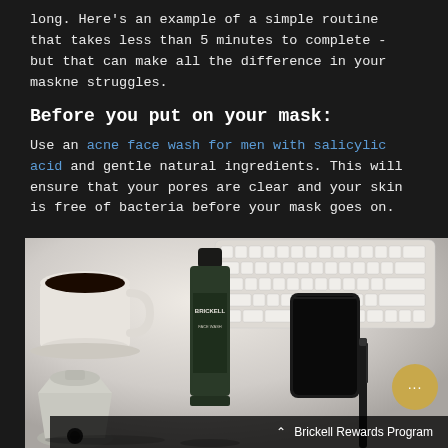long. Here's an example of a simple routine that takes less than 5 minutes to complete - but that can make all the difference in your maskne struggles.
Before you put on your mask:
Use an acne face wash for men with salicylic acid and gentle natural ingredients. This will ensure that your pores are clear and your skin is free of bacteria before your mask goes on.
[Figure (photo): Flat lay photo showing a Brickell face wash bottle, a coffee mug, an Apple keyboard, a black smartphone, a pen, and a small silver metal espresso maker on a light marble/white surface]
Brickell Rewards Program